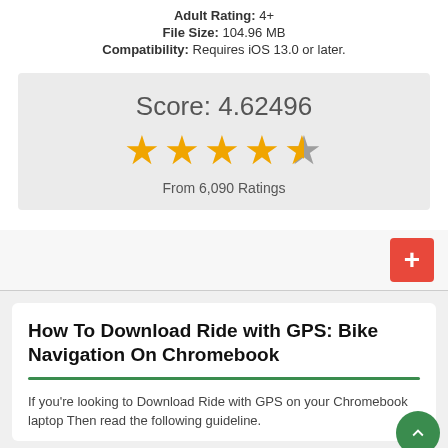Adult Rating: 4+
File Size: 104.96 MB
Compatibility: Requires iOS 13.0 or later.
[Figure (infographic): Rating box showing Score: 4.62496 with 4 full gold stars and 1 partial gray star, From 6,090 Ratings]
From 6,090 Ratings
How To Download Ride with GPS: Bike Navigation On Chromebook
If you're looking to Download Ride with GPS on your Chromebook laptop Then read the following guideline.